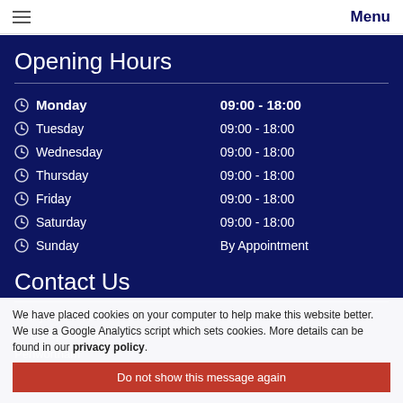Menu
Opening Hours
| Day | Hours |
| --- | --- |
| Monday | 09:00 - 18:00 |
| Tuesday | 09:00 - 18:00 |
| Wednesday | 09:00 - 18:00 |
| Thursday | 09:00 - 18:00 |
| Friday | 09:00 - 18:00 |
| Saturday | 09:00 - 18:00 |
| Sunday | By Appointment |
Contact Us
Priory Car Sales
66 Liverpool Road
Penwortham
Preston
We have placed cookies on your computer to help make this website better. We use a Google Analytics script which sets cookies. More details can be found in our privacy policy.
Do not show this message again